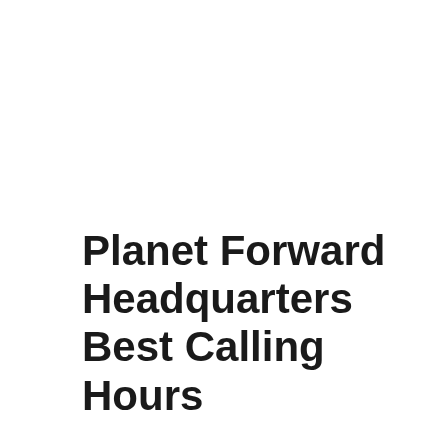Planet Forward Headquarters Best Calling Hours